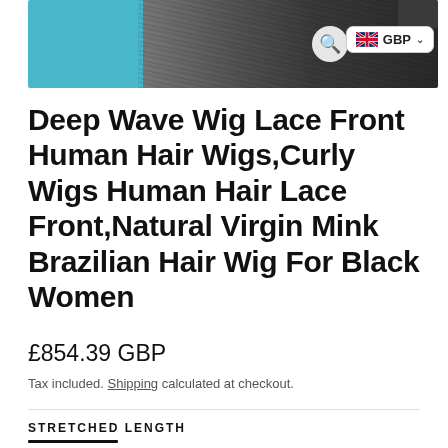[Figure (photo): Product photo showing deep wave curly hair wig in dark tones with a teal/cyan fabric on the left side. Small currency selector badge with UK flag showing GBP and a search icon overlay.]
Deep Wave Wig Lace Front Human Hair Wigs,Curly Wigs Human Hair Lace Front,Natural Virgin Mink Brazilian Hair Wig For Black Women
£854.39 GBP
Tax included. Shipping calculated at checkout.
STRETCHED LENGTH